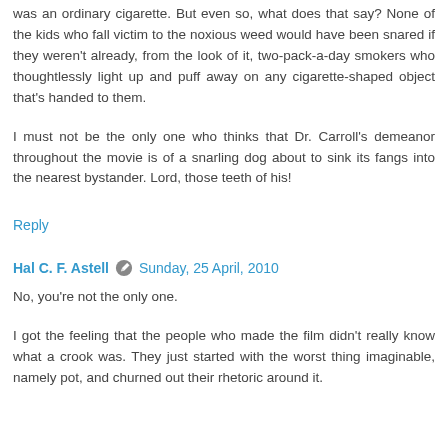was an ordinary cigarette. But even so, what does that say? None of the kids who fall victim to the noxious weed would have been snared if they weren't already, from the look of it, two-pack-a-day smokers who thoughtlessly light up and puff away on any cigarette-shaped object that's handed to them.
I must not be the only one who thinks that Dr. Carroll's demeanor throughout the movie is of a snarling dog about to sink its fangs into the nearest bystander. Lord, those teeth of his!
Reply
Hal C. F. Astell  Sunday, 25 April, 2010
No, you're not the only one.
I got the feeling that the people who made the film didn't really know what a crook was. They just started with the worst thing imaginable, namely pot, and churned out their rhetoric around it.